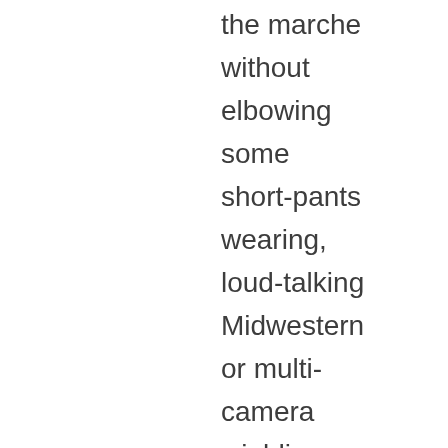the marche without elbowing some short-pants wearing, loud-talking Midwestern or multi-camera wielding, giggling Far-Easter or sun-burnt, hard-drinking Aussie! wait a minute, i'm one of those 'etrangers' too....i keep